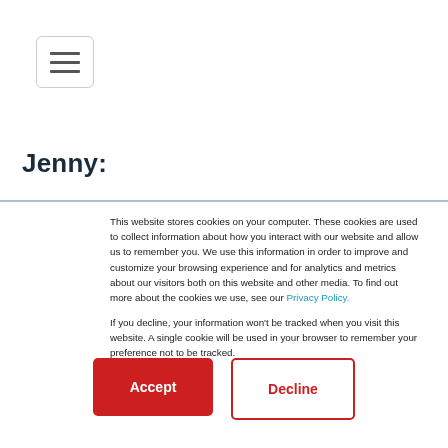[Figure (other): Hamburger menu button (three horizontal bars) in a rounded rectangle border]
Jenny:
This website stores cookies on your computer. These cookies are used to collect information about how you interact with our website and allow us to remember you. We use this information in order to improve and customize your browsing experience and for analytics and metrics about our visitors both on this website and other media. To find out more about the cookies we use, see our Privacy Policy.

If you decline, your information won't be tracked when you visit this website. A single cookie will be used in your browser to remember your preference not to be tracked.
Accept
Decline